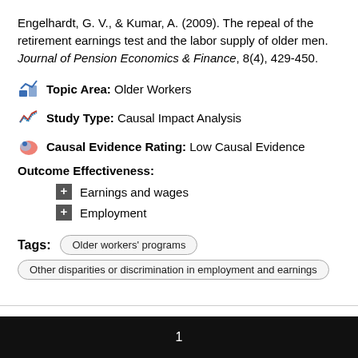Engelhardt, G. V., & Kumar, A. (2009). The repeal of the retirement earnings test and the labor supply of older men. Journal of Pension Economics & Finance, 8(4), 429-450.
Topic Area: Older Workers
Study Type: Causal Impact Analysis
Causal Evidence Rating: Low Causal Evidence
Outcome Effectiveness:
Earnings and wages
Employment
Tags: Older workers' programs | Other disparities or discrimination in employment and earnings
1